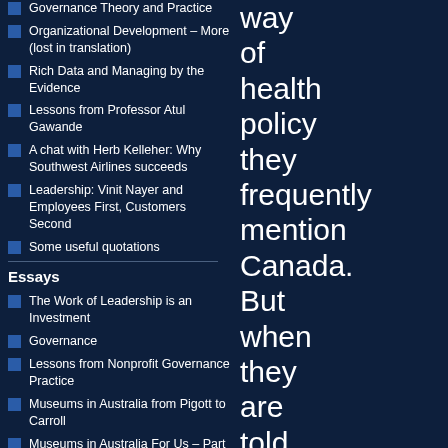Governance Theory and Practice
Organizational Development – More (lost in translation)
Rich Data and Managing by the Evidence
Lessons from Professor Atul Gawande
A chat with Herb Kelleher: Why Southwest Airlines succeeds
Leadership: Vinit Nayer and Employees First, Customers Second
Some useful quotations
Essays
The Work of Leadership is an Investment
Governance
Lessons from Nonprofit Governance Practice
Museums in Australia from Pigott to Carroll
Museums in Australia For Us – Part 1
Museums in Australia For Us –
way of health policy they frequently mention Canada. But when they are told that Canadian polices are very like those in Scandinavia